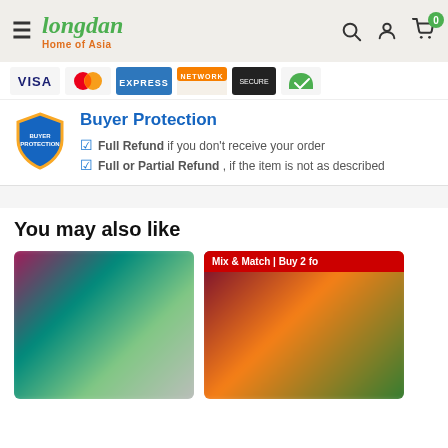Longdan Home of Asia
[Figure (screenshot): Payment method logos: Visa, Mastercard, American Express, Network, and two other payment icons]
Buyer Protection
Full Refund if you don't receive your order
Full or Partial Refund , if the item is not as described
You may also like
[Figure (photo): Product card showing a blurred Asian food product with colorful packaging]
[Figure (photo): Product card with Mix & Match | Buy 2 for promotion badge, showing a blurred product with dark red and colorful packaging]